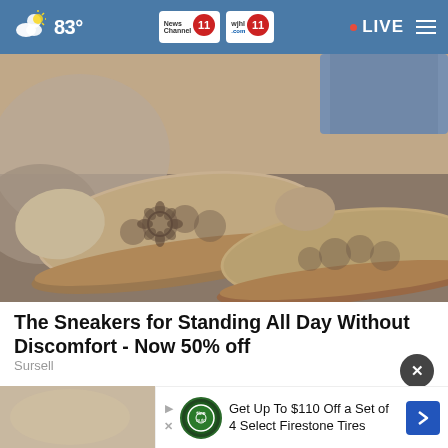83° News Channel 11 wjhl.com 11 LIVE
[Figure (photo): Close-up photo of a pair of tan/beige laser-cut floral patterned slip-on shoes/sneakers worn by a person with jeans, photographed on a rocky surface]
The Sneakers for Standing All Day Without Discomfort - Now 50% off
Sursell
[Figure (photo): Partial bottom photo strip visible at bottom of page]
Get Up To $110 Off a Set of 4 Select Firestone Tires